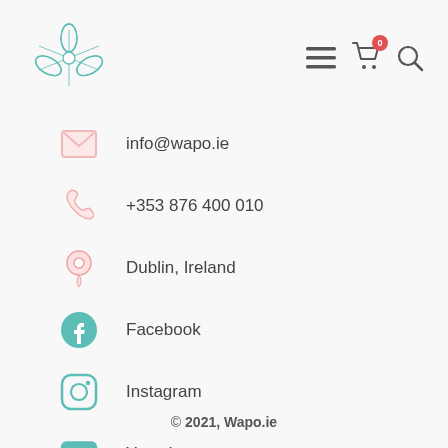[Figure (logo): Wapo.ie flower/snowflake logo in teal, with navigation icons: hamburger menu, cart with badge 0, and search icon]
info@wapo.ie
+353 876 400 010
Dublin, Ireland
Facebook
Instagram
Youtube
© 2021, Wapo.ie